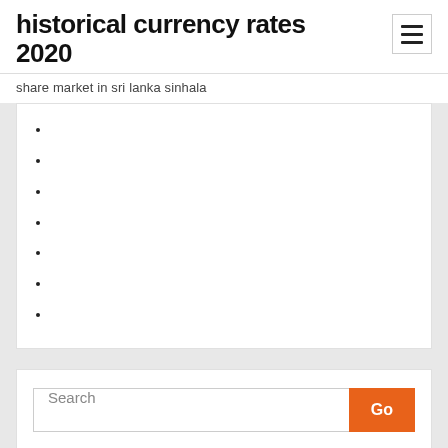historical currency rates 2020
share market in sri lanka sinhala
Search
Go